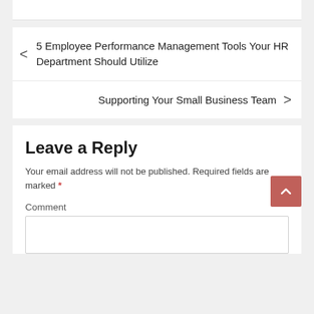5 Employee Performance Management Tools Your HR Department Should Utilize
Supporting Your Small Business Team
Leave a Reply
Your email address will not be published. Required fields are marked *
Comment